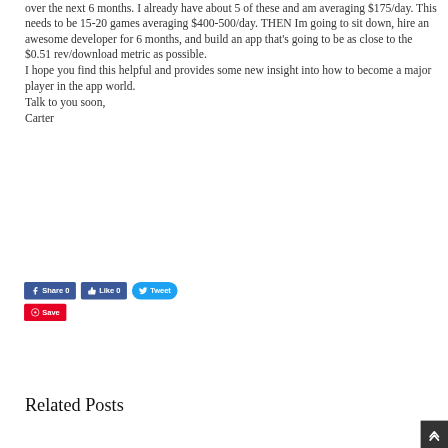over the next 6 months. I already have about 5 of these and am averaging $175/day. This needs to be 15-20 games averaging $400-500/day. THEN Im going to sit down, hire an awesome developer for 6 months, and build an app that's going to be as close to the $0.51 rev/download metric as possible.
I hope you find this helpful and provides some new insight into how to become a major player in the app world.
Talk to you soon,
Carter
[Figure (other): Social sharing buttons: Facebook Share 0, Like 0, Tweet, and Pinterest Save]
Related Posts